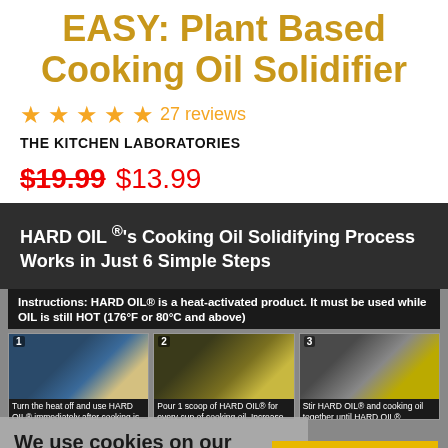EASY: Plant Based Cooking Oil Solidifier
★★★★★ 27 reviews
THE KITCHEN LABORATORIES
$19.99 $13.99
HARD OIL ®'s Cooking Oil Solidifying Process Works in Just 6 Simple Steps
Instructions: HARD OIL® is a heat-activated product. It must be used while OIL is still HOT (176°F or 80°C and above)
[Figure (photo): Step 1: Turn the heat off and use HARD OIL® immediately after cooking is finished.]
[Figure (photo): Step 2: Pour 1 scoop of HARD OIL® for every cup of cooking oil. Increase the amount of HARD OIL® to]
[Figure (photo): Step 3: Stir HARD OIL® and cooking oil together until HARD OIL® completely dissolves the]
We use cookies on our website to give you the best shopping experience. By using this site, you agree to its use of cookies.
I AGREE!